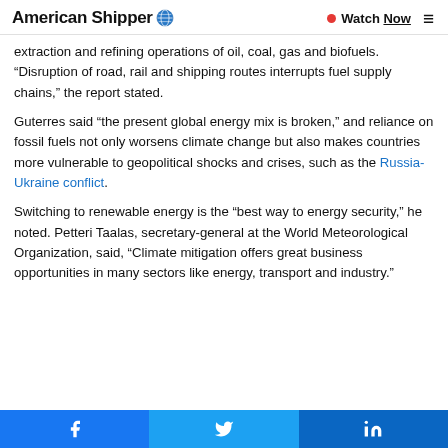American Shipper | Watch Now
extraction and refining operations of oil, coal, gas and biofuels. “Disruption of road, rail and shipping routes interrupts fuel supply chains,” the report stated.
Guterres said “the present global energy mix is broken,” and reliance on fossil fuels not only worsens climate change but also makes countries more vulnerable to geopolitical shocks and crises, such as the Russia-Ukraine conflict.
Switching to renewable energy is the “best way to energy security,” he noted. Petteri Taalas, secretary-general at the World Meteorological Organization, said, “Climate mitigation offers great business opportunities in many sectors like energy, transport and industry.”
Facebook | Twitter | LinkedIn